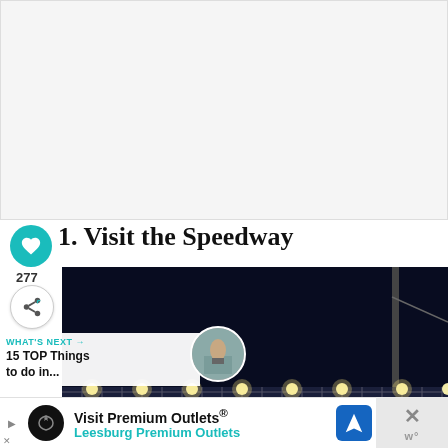[Figure (other): Large white/light gray empty content area at top of page]
1. Visit the Speedway
277
[Figure (photo): Night photo of a speedway showing dark sky, pole, and illuminated chain-link fence with bright lights]
WHAT'S NEXT → 15 TOP Things to do in...
Visit Premium Outlets® Leesburg Premium Outlets